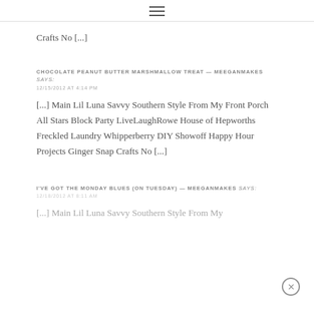≡
Crafts No [...]
CHOCOLATE PEANUT BUTTER MARSHMALLOW TREAT — MEEGANMAKES says:
12/15/2012 AT 4:14 PM
[...] Main Lil Luna Savvy Southern Style From My Front Porch All Stars Block Party LiveLaughRowe House of Hepworths Freckled Laundry Whipperberry DIY Showoff Happy Hour Projects Ginger Snap Crafts No [...]
I'VE GOT THE MONDAY BLUES (ON TUESDAY) — MEEGANMAKES says:
12/18/2012 AT 8:11 AM
[...] Main Lil Luna Savvy Southern Style From My